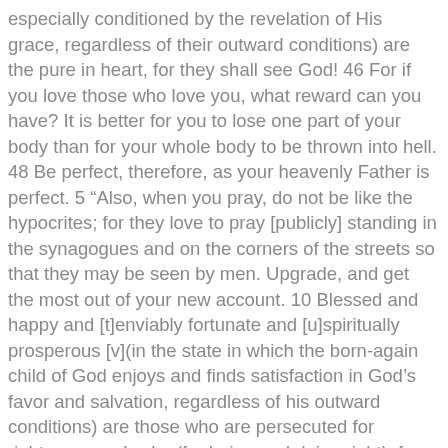especially conditioned by the revelation of His grace, regardless of their outward conditions) are the pure in heart, for they shall see God! 46 For if you love those who love you, what reward can you have? It is better for you to lose one part of your body than for your whole body to be thrown into hell. 48 Be perfect, therefore, as your heavenly Father is perfect. 5 “Also, when you pray, do not be like the hypocrites; for they love to pray [publicly] standing in the synagogues and on the corners of the streets so that they may be seen by men. Upgrade, and get the most out of your new account. 10 Blessed and happy and [t]enviably fortunate and [u]spiritually prosperous [v](in the state in which the born-again child of God enjoys and finds satisfaction in God’s favor and salvation, regardless of his outward conditions) are those who are persecuted for righteousness’ sake (for being and doing right), for theirs is the kingdom of heaven! The Sermon on the Mount; The Beatitudes. 1. 2 And he opened his mouth, and taught them, saying,. 16 In the same way, let your light shine before others, that they may